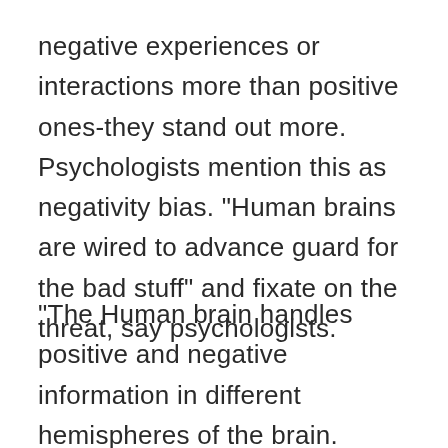negative experiences or interactions more than positive ones-they stand out more. Psychologists mention this as negativity bias. "Human brains are wired to advance guard for the bad stuff" and fixate on the threat, say psychologists.
"The Human brain handles positive and negative information in different hemispheres of the brain. Negative emotions or thinking generally involve more thinking, and the information is processed